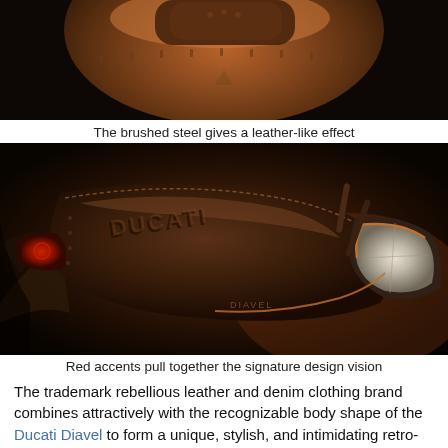[Figure (photo): Close-up of a motorcycle seat and body panels with brushed steel giving a leather-like effect, dark background, warm brown tones]
The brushed steel gives a leather-like effect
[Figure (photo): Close-up front/side view of a Ducati Diavel motorcycle with dark brown leather-like body panels, red accent taillight, DUCATI branding, crystal headlight, warm brown tones on black background]
Red accents pull together the signature design vision
The trademark rebellious leather and denim clothing brand combines attractively with the recognizable body shape of the Ducati Diavel to form a unique, stylish, and intimidating retro-futuristic motorcycle. Though Diesel's advertising has been